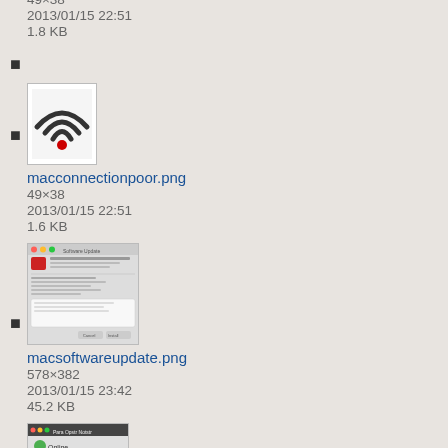macconnectiongood.png
49×38
2013/01/15 22:51
1.8 KB
[Figure (screenshot): Thumbnail of macconnectionpoor.png showing a WiFi icon with a red dot]
macconnectionpoor.png
49×38
2013/01/15 22:51
1.6 KB
[Figure (screenshot): Thumbnail of macsoftwareupdate.png showing a software update dialog]
macsoftwareupdate.png
578×382
2013/01/15 23:42
45.2 KB
[Figure (screenshot): Thumbnail of another Mac-related PNG showing an online status screen]